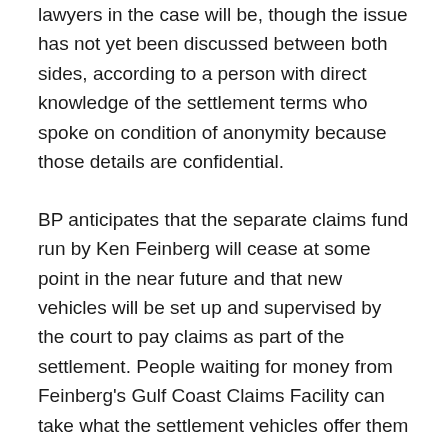lawyers in the case will be, though the issue has not yet been discussed between both sides, according to a person with direct knowledge of the settlement terms who spoke on condition of anonymity because those details are confidential.
BP anticipates that the separate claims fund run by Ken Feinberg will cease at some point in the near future and that new vehicles will be set up and supervised by the court to pay claims as part of the settlement. People waiting for money from Feinberg's Gulf Coast Claims Facility can take what the settlement vehicles offer them or opt out and make a claim directly to a BP-run entity. If they don't like what they get from that entity, they can sue, the person said. Pending offers before the GCCF will be honored, the person